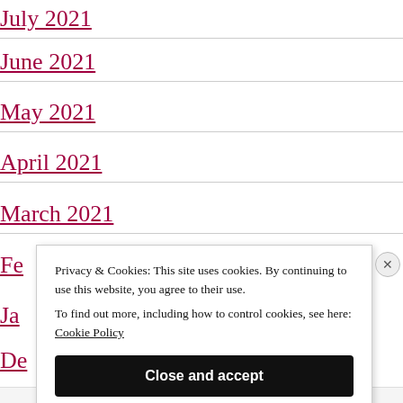July 2021
June 2021
May 2021
April 2021
March 2021
Fe[bruary 2021]
Ja[nuary 2021]
De[cember 2020]
Privacy & Cookies: This site uses cookies. By continuing to use this website, you agree to their use.
To find out more, including how to control cookies, see here: Cookie Policy
Close and accept